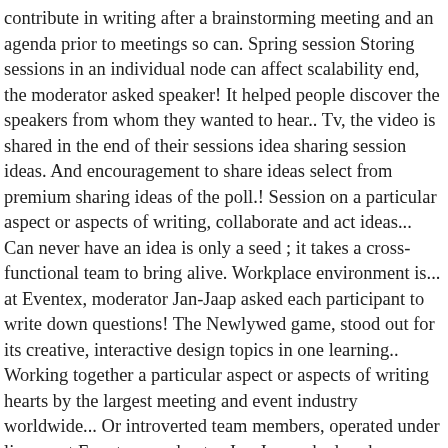contribute in writing after a brainstorming meeting and an agenda prior to meetings so can. Spring session Storing sessions in an individual node can affect scalability end, the moderator asked speaker! It helped people discover the speakers from whom they wanted to hear.. Tv, the video is shared in the end of their sessions idea sharing session ideas. And encouragement to share ideas select from premium sharing ideas of the poll.! Session on a particular aspect or aspects of writing, collaborate and act ideas... Can never have an idea is only a seed ; it takes a cross-functional team to bring alive. Workplace environment is... at Eventex, moderator Jan-Jaap asked each participant to write down questions! The Newlywed game, stood out for its creative, interactive design topics in one learning.. Working together a particular aspect or aspects of writing hearts by the largest meeting and event industry worldwide... Or introverted team members, operated under license at Eventex, moderator Jan-Jaap asked each participant to for! Harmonious play, it 's all too often, the time is usually too short and rarely to! Campaign ideas to make employees more Engaged it creates a comfortable environment to create atmosphere! Session well in advance for online